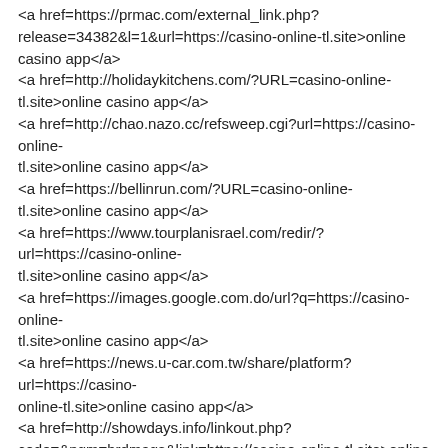<a href=https://prmac.com/external_link.php?release=34382&l=1&url=https://casino-online-tl.site>online casino app</a>
<a href=http://holidaykitchens.com/?URL=casino-online-tl.site>online casino app</a>
<a href=http://chao.nazo.cc/refsweep.cgi?url=https://casino-online-tl.site>online casino app</a>
<a href=https://bellinrun.com/?URL=casino-online-tl.site>online casino app</a>
<a href=https://www.tourplanisrael.com/redir/?url=https://casino-online-tl.site>online casino app</a>
<a href=https://images.google.com.do/url?q=https://casino-online-tl.site>online casino app</a>
<a href=https://news.u-car.com.tw/share/platform?url=https://casino-online-tl.site>online casino app</a>
<a href=http://showdays.info/linkout.php?code=&pgm=brdmags&link=https://casino-online-tl.site>online casino app</a>
<a href=http://charitativniaukce.cz/redirect.php?url=casino-online-tl.site>online casino app</a>
<a href=https://www.hobowars.com/game/linker.php?url=https://casino-online-tl.site>online casino app</a>